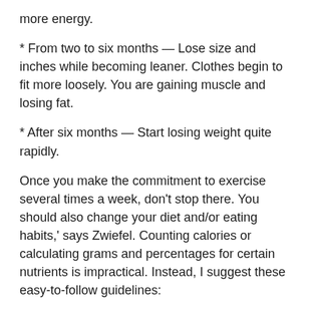more energy.
* From two to six months — Lose size and inches while becoming leaner. Clothes begin to fit more loosely. You are gaining muscle and losing fat.
* After six months — Start losing weight quite rapidly.
Once you make the commitment to exercise several times a week, don't stop there. You should also change your diet and/or eating habits,' says Zwiefel. Counting calories or calculating grams and percentages for certain nutrients is impractical. Instead, I suggest these easy-to-follow guidelines:
* Eat several small meals (optimally four) and a couple of small snacks throughout the day
* Make sure every meal is balanced — incorporate